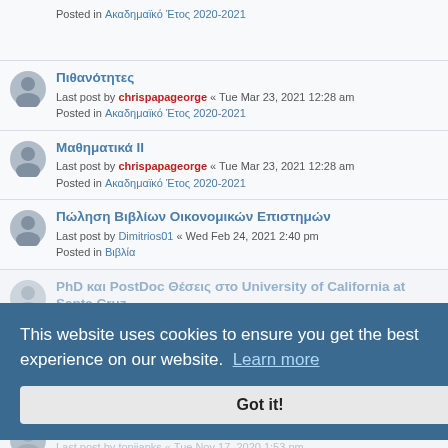Posted in Ακαδημαϊκό Έτος 2020-2021
Πιθανότητες
Last post by chrispapageorge « Tue Mar 23, 2021 12:28 am
Posted in Ακαδημαϊκό Έτος 2020-2021
Μαθηματικά ΙΙ
Last post by chrispapageorge « Tue Mar 23, 2021 12:28 am
Posted in Ακαδημαϊκό Έτος 2020-2021
Πώληση Βιβλίων Οικονομικών Επιστημών
Last post by Dimitrios01 « Wed Feb 24, 2021 2:40 pm
Posted in Βιβλία
PhD και PostDoc Θέσεις στο University of California at Santa Cruz
Last post by Kostas1601 « Sat Dec 12, 2020 8:53 pm
Posted in Μεταπτυχιακά
ATHEX Innovation Program
Posted in Συνέδρια - Σεμινάρια
Χρειάζομαι βοήθεια παρακαλώ!
Last post by toniianks « Tue Nov 17, 2020 1:53 pm
Posted in Προγραμματισμός
This website uses cookies to ensure you get the best experience on our website. Learn more
Got it!